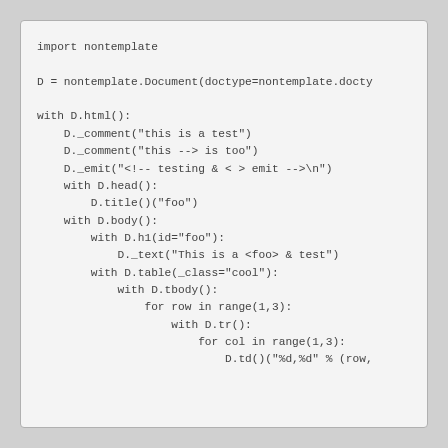import nontemplate

D = nontemplate.Document(doctype=nontemplate.docty

with D.html():
    D._comment("this is a test")
    D._comment("this --> is too")
    D._emit("<!-- testing & < > emit -->\n")
    with D.head():
        D.title()("foo")
    with D.body():
        with D.h1(id="foo"):
            D._text("This is a <foo> & test")
        with D.table(_class="cool"):
            with D.tbody():
                for row in range(1,3):
                    with D.tr():
                        for col in range(1,3):
                            D.td()("%d,%d" % (row,